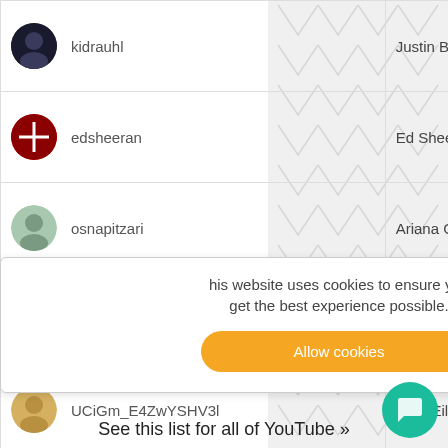| Username | Real Name | Type |
| --- | --- | --- |
| kidrauhl | Justin Bieber | Entertainer/Ev… |
| edsheeran | Ed Sheeran | Entertainer/Ev… |
| osnapitzari | Ariana Grande | Entertainer/Ev… |
| taylorswift | Taylor Swift | Entertainer/Ev… |
| UCiGm_E4ZwYSHV3l | Billie Eilish | Entertainer/Ev… |
| katyperrymusic | Katy Perry | Entertainer/Ev… |
| UCJrOtniJ0-NWz37R3 | Alan Walker | Entertainer/Ev… |
| rihanna | Rihanna | Entertainer/Ev… |
| onedirectionchannel | One Direction | Entertainer/Ev… |
|  |  | Entertainer/Ev… |
This website uses cookies to ensure you get the best experience possible.
See this list for all of YouTube »